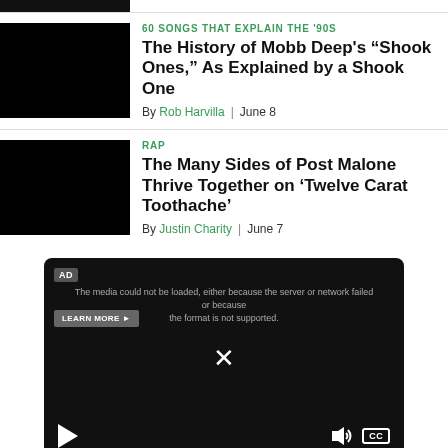[Figure (photo): Black thumbnail image for article 1]
60 SONGS THAT EXPLAIN THE '90S
The History of Mobb Deep's “Shook Ones,” As Explained by a Shook One
By Rob Harvilla | June 8
[Figure (photo): Black thumbnail image for article 2]
RAP
The Many Sides of Post Malone Thrive Together on ‘Twelve Carat Toothache’
By Justin Charity | June 7
[Figure (screenshot): Video player with AD badge, error message, learn more button, close X, play button, volume and CC controls]